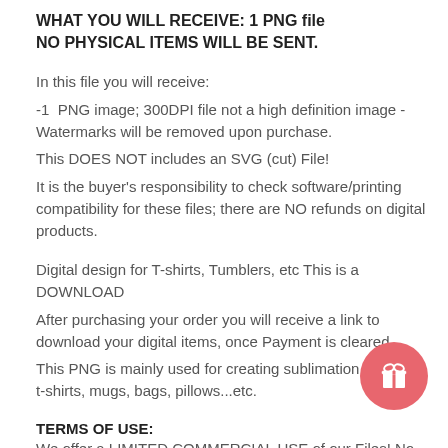WHAT YOU WILL RECEIVE: 1 PNG file
NO PHYSICAL ITEMS WILL BE SENT.
In this file you will receive:
-1  PNG image; 300DPI file not a high definition image -Watermarks will be removed upon purchase.
This DOES NOT includes an SVG (cut) File!
It is the buyer's responsibility to check software/printing compatibility for these files; there are NO refunds on digital products.
Digital design for T-shirts, Tumblers, etc This is a DOWNLOAD
After purchasing your order you will receive a link to download your digital items, once Payment is cleared.
This PNG is mainly used for creating sublimation products; t-shirts, mugs, bags, pillows...etc.
TERMS OF USE:
We offer a LIMITED COMMERCIAL USE of our Files! No credit required but